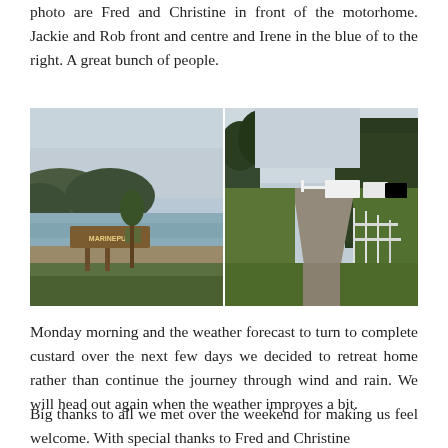photo are Fred and Christine in front of the motorhome. Jackie and Rob front and centre and Irene in the blue of to the right. A great bunch of people.
[Figure (photo): Two outdoor photos side by side: left shows a beach/coastal scene with a sign reading MARINEPUA and hills in the background; right shows a gravel driveway leading to motorhomes/campervans parked among trees with a wooden fence on the right.]
Monday morning and the weather forecast to turn to complete custard over the next few days we decided to retreat home rather than continue the journey through wind and rain. We will head out again when the weather improves a bit.
Big thanks to all we met over the weekend for making us feel welcome. With special thanks to Fred and Christine